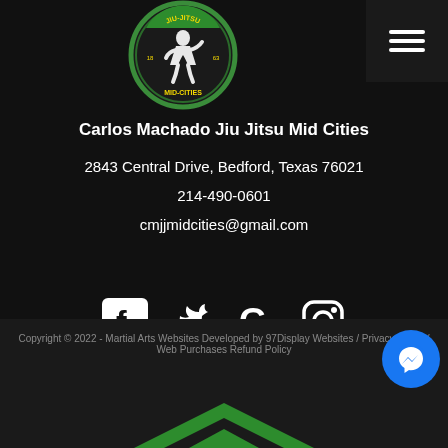[Figure (logo): Carlos Machado Jiu Jitsu Mid-Cities circular logo with green border, yellow text, and martial arts figure]
Carlos Machado Jiu Jitsu Mid Cities
2843 Central Drive, Bedford, Texas 76021
214-490-0601
cmjjmidcities@gmail.com
[Figure (illustration): Social media icons row: Facebook, Twitter, Google, Instagram]
Copyright © 2022 - Martial Arts Websites Developed by 97Display Websites / Privacy Policy / Web Purchases Refund Policy